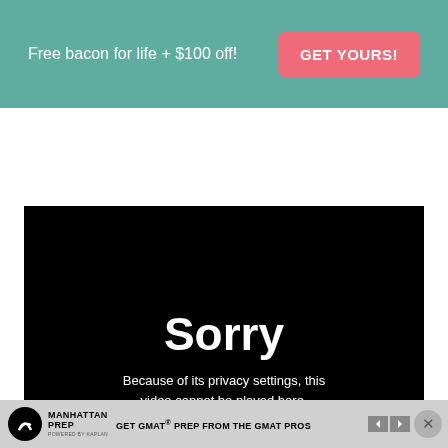Free bacon for life + $100 off!
GET YOURS!
[Figure (screenshot): Black video player showing 'Sorry' message: 'Because of its privacy settings, this video cannot be played here.']
Sorry
Because of its privacy settings, this video cannot be played here.
[Figure (screenshot): Manhattan Prep advertisement bar at bottom: GET GMAT PREP FROM THE GMAT PROS, with navigation and close button]